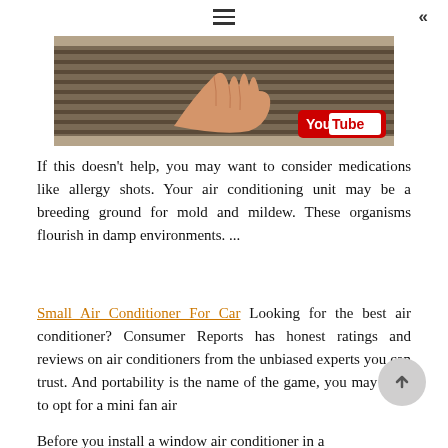≡  «
[Figure (photo): A hand pointing at or adjusting a window air conditioning unit filter, with a YouTube logo badge in the bottom right corner.]
If this doesn't help, you may want to consider medications like allergy shots. Your air conditioning unit may be a breeding ground for mold and mildew. These organisms flourish in damp environments. ...
Small Air Conditioner For Car Looking for the best air conditioner? Consumer Reports has honest ratings and reviews on air conditioners from the unbiased experts you can trust. And portability is the name of the game, you may want to opt for a mini fan air
Before you install a window air conditioner in a